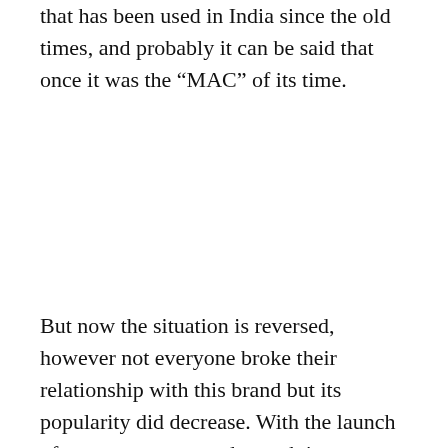that has been used in India since the old times, and probably it can be said that once it was the “MAC” of its time.
But now the situation is reversed, however not everyone broke their relationship with this brand but its popularity did decrease. With the launch of a new category underneath it as Lakme Absolute it has tended to get its